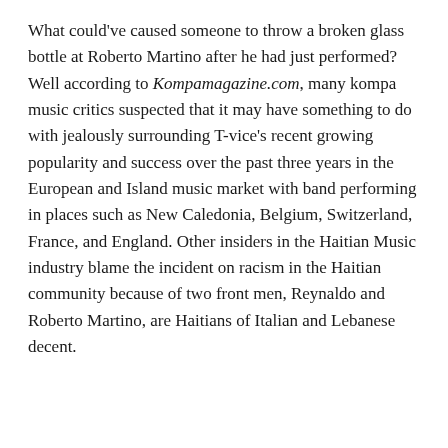What could've caused someone to throw a broken glass bottle at Roberto Martino after he had just performed? Well according to Kompamagazine.com, many kompa music critics suspected that it may have something to do with jealously surrounding T-vice's recent growing popularity and success over the past three years in the European and Island music market with band performing in places such as New Caledonia, Belgium, Switzerland, France, and England. Other insiders in the Haitian Music industry blame the incident on racism in the Haitian community because of two front men, Reynaldo and Roberto Martino, are Haitians of Italian and Lebanese decent.